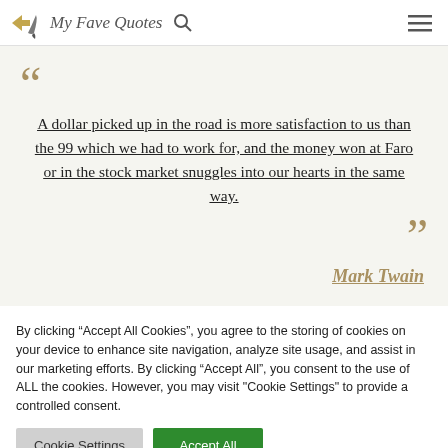My Fave Quotes
A dollar picked up in the road is more satisfaction to us than the 99 which we had to work for, and the money won at Faro or in the stock market snuggles into our hearts in the same way. — Mark Twain
By clicking “Accept All Cookies”, you agree to the storing of cookies on your device to enhance site navigation, analyze site usage, and assist in our marketing efforts. By clicking “Accept All”, you consent to the use of ALL the cookies. However, you may visit "Cookie Settings" to provide a controlled consent.